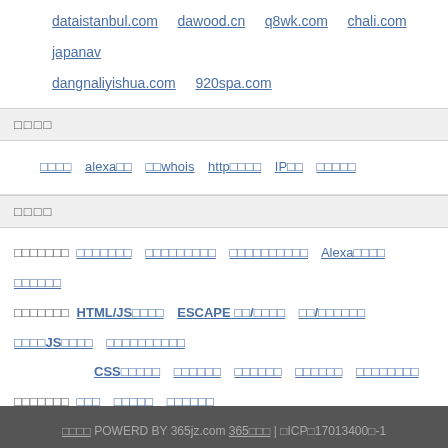dataistanbul.com  dawood.cn  q8wk.com  chali.com  japanav
dangnaliyishua.com  920spa.com
□□□□
□□□□  alexa□□  □□whois  http□□□□  IP□□  □□□□□
□□□□
□□□□□□□ □□□□□□□  □□□□□□□□□  □□□□□□□□□□  Alexa□□□□  □□□□□□
□□□□□□□ HTML/JS□□□□  ESCAPE □□/□□□□  □□/□□□□□□  □□□□JS□□□□  □□□□□□□□□□
             CSS□□□□□  □□□□□□  □□□□□□  □□□□□□  □□□□□□□□
□□□□□□□ □□□  □□□□□  □□□□□□
□□□□□□□ HTML□□  CSS□□  jQuery □□  AJAX □□  JScript□□  PHP□□  MYS
□□□□ POWERD BY 365jz.com 365□□□ | □ICP□17013400□-1